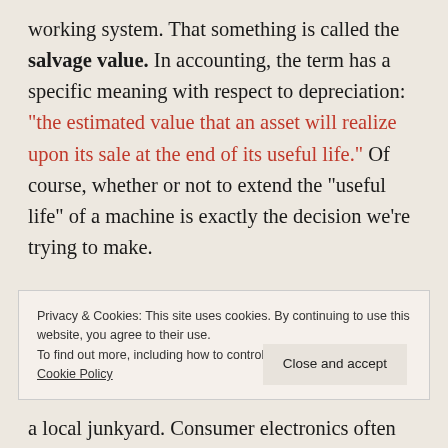working system. That something is called the salvage value. In accounting, the term has a specific meaning with respect to depreciation: "the estimated value that an asset will realize upon its sale at the end of its useful life." Of course, whether or not to extend the "useful life" of a machine is exactly the decision we're trying to make.
Privacy & Cookies: This site uses cookies. By continuing to use this website, you agree to their use. To find out more, including how to control cookies, see here: Cookie Policy
a local junkyard. Consumer electronics often